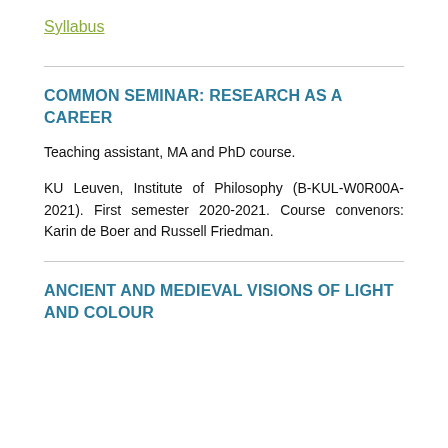Syllabus
COMMON SEMINAR: RESEARCH AS A CAREER
Teaching assistant, MA and PhD course.
KU Leuven, Institute of Philosophy (B-KUL-W0R00A-2021). First semester 2020-2021. Course convenors: Karin de Boer and Russell Friedman.
ANCIENT AND MEDIEVAL VISIONS OF LIGHT AND COLOUR